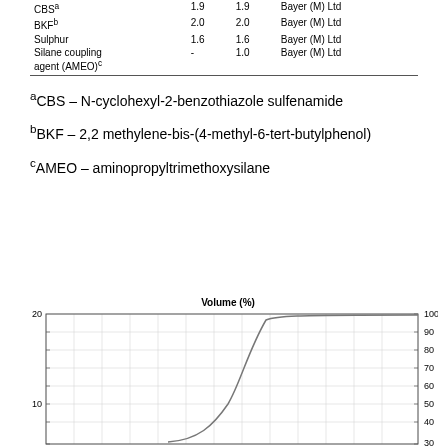|  |  |  |  |
| --- | --- | --- | --- |
| CBSᵃ | 1.9 | 1.9 | Bayer (M) Ltd |
| BKFᵇ | 2.0 | 2.0 | Bayer (M) Ltd |
| Sulphur | 1.6 | 1.6 | Bayer (M) Ltd |
| Silane coupling agent (AMEO)ᶜ | - | 1.0 | Bayer (M) Ltd |
ᵃCBS – N-cyclohexyl-2-benzothiazole sulfenamide
ᵇBKF – 2,2 methylene-bis-(4-methyl-6-tert-butylphenol)
ᶜAMEO – aminopropyltrimethoxysilane
[Figure (continuous-plot): S-shaped cumulative volume (%) curve. Left y-axis labeled 10 and 20 (partial view), right y-axis labeled 30-100 in increments of 10. X-axis not visible. Title: Volume (%). The curve rises steeply in the middle region, transitioning from ~10 to ~100.]